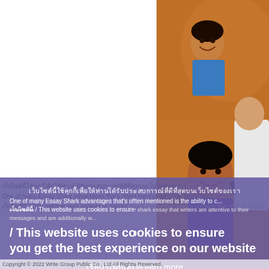[Figure (photo): Three young boys smiling and looking at something together, one holding a pen to another's face, warm indoor lighting]
One of many Essay Shark advantages that's often mentioned is the ability to c... shark essay that writers are attentive to their messages and are additionally w...
เว็บไซต์นี้ใช้คุกกี้เพื่อให้ท่านได้รับประสบการณ์ที่ดีที่สุดบนเว็บไซต์ของเรา / This website uses cookies to ensure you get the best experience on our website
เรียนรู้เพิ่มเติม/Learn more
ยอมรับ/Accept
Copyright © 2022 Write Group Public Co., Ltd All Rights Reserved.